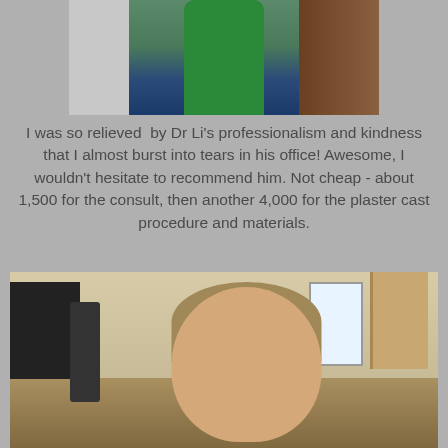[Figure (photo): Photo of a child in a green top holding something, standing in front of a door]
I was so relieved  by Dr Li's professionalism and kindness that I almost burst into tears in his office! Awesome, I wouldn't hesitate to recommend him. Not cheap - about 1,500 for the consult, then another 4,000 for the plaster cast procedure and materials.
[Figure (photo): Photo of a young smiling boy with blond/brown hair in a living room setting with a TV, speaker, door, and window visible]